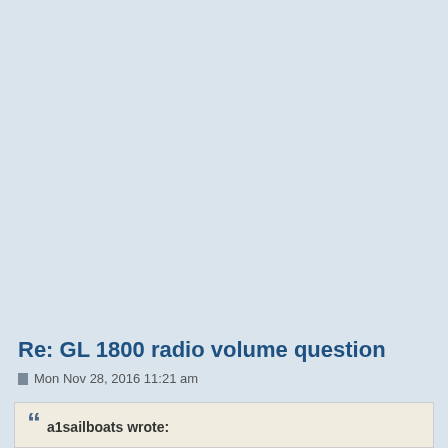Re: GL 1800 radio volume question
Mon Nov 28, 2016 11:21 am
a1sailboats wrote: